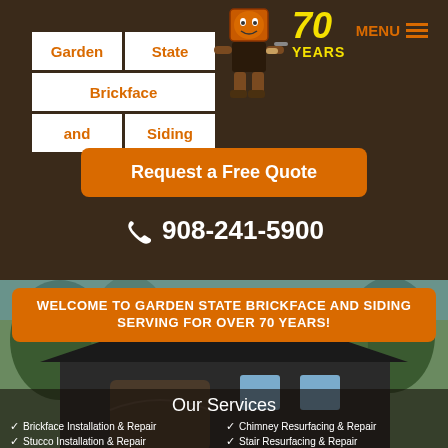[Figure (logo): Garden State Brickface and Siding logo with text grid and mascot brick character, 70 Years badge]
MENU
Request a Free Quote
908-241-5900
[Figure (photo): House exterior with trees in background]
WELCOME TO GARDEN STATE BRICKFACE AND SIDING
SERVING FOR OVER 70 YEARS!
Our Services
Brickface Installation & Repair
Stucco Installation & Repair
Chimney Resurfacing & Repair
Stair Resurfacing & Repair